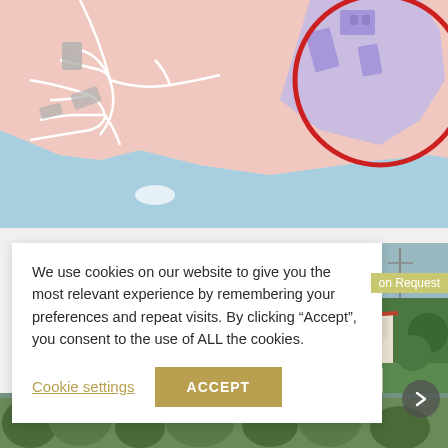[Figure (map): Illustrated map showing a coastal area with roads, buildings highlighted in purple/lavender, surrounding pink land areas, and blue water. A red circle highlights a specific building cluster near the coastline.]
We use cookies on our website to give you the most relevant experience by remembering your preferences and repeat visits. By clicking “Accept”, you consent to the use of ALL the cookies.
[Figure (photo): Photograph of a white building with a red-tiled roof surrounded by trees, partially visible on the right side of the page.]
on Request
Cookie settings
ACCEPT
[Figure (photo): Partial photograph of outdoor scenery with trees visible at the bottom of the page.]